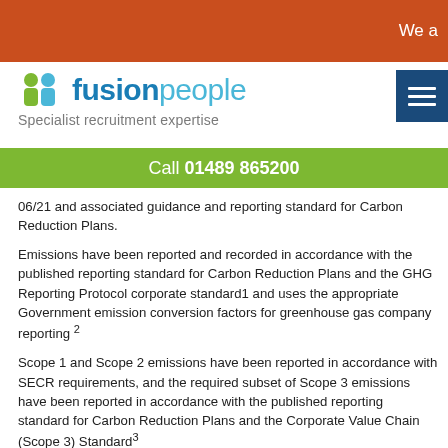We a
[Figure (logo): Fusion People logo with icon showing two figures and text 'fusionpeople' and tagline 'Specialist recruitment expertise']
Call 01489 865200
06/21 and associated guidance and reporting standard for Carbon Reduction Plans.
Emissions have been reported and recorded in accordance with the published reporting standard for Carbon Reduction Plans and the GHG Reporting Protocol corporate standard1 and uses the appropriate Government emission conversion factors for greenhouse gas company reporting 2
Scope 1 and Scope 2 emissions have been reported in accordance with SECR requirements, and the required subset of Scope 3 emissions have been reported in accordance with the published reporting standard for Carbon Reduction Plans and the Corporate Value Chain (Scope 3) Standard3
This Carbon Reduction Plan has been reviewed and signed off by the